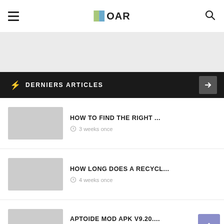OAR — site logo and navigation header
⚡ DERNIERS ARTICLES →
HOW TO FIND THE RIGHT ...
3 weeks once
HOW LONG DOES A RECYCL...
4 weeks once
APTOIDE MOD APK V9.20....